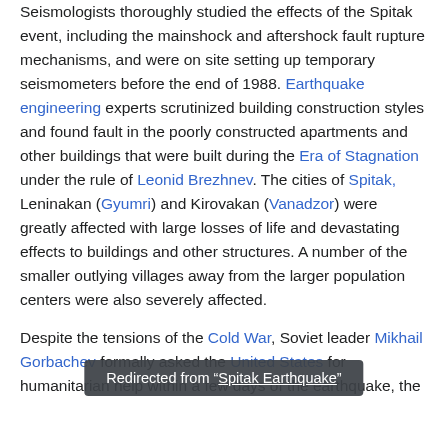Seismologists thoroughly studied the effects of the Spitak event, including the mainshock and aftershock fault rupture mechanisms, and were on site setting up temporary seismometers before the end of 1988. Earthquake engineering experts scrutinized building construction styles and found fault in the poorly constructed apartments and other buildings that were built during the Era of Stagnation under the rule of Leonid Brezhnev. The cities of Spitak, Leninakan (Gyumri) and Kirovakan (Vanadzor) were greatly affected with large losses of life and devastating effects to buildings and other structures. A number of the smaller outlying villages away from the larger population centers were also severely affected.

Despite the tensions of the Cold War, Soviet leader Mikhail Gorbachev formally asked the United States for humanitarian help within a few days of the earthquake, the
Redirected from "Spitak Earthquake"